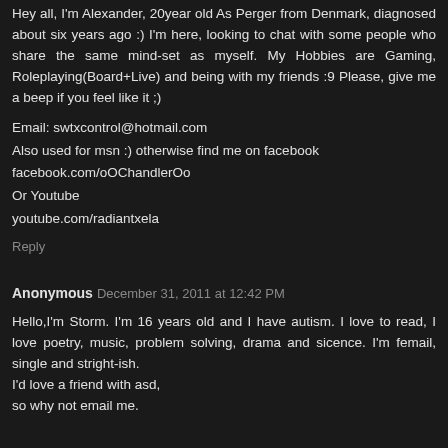Hey all, I'm Alexander, 20year old As Perger from Denmark, diagnosed about six years ago :) I'm here, looking to chat with some people who share the same mind-set as myself. My Hobbies are Gaming, Roleplaying(Board+Live) and being with my friends :9 Please, give me a beep if you feel like it ;)
Email: swtxcontrol@hotmail.com
Also used for msn :) otherwise find me on facebook
facebook.com/oOChandlerOo
Or Youtube
youtube.com/radiantxela
Reply
Anonymous December 31, 2011 at 12:42 PM
Hello,I'm Storm. I'm 16 years old and I have autism. I love to read, I love poetry, music, problem solving, drama and sicence. I'm femail, single and stright-ish.
I'd love a friend with asd,
so why not email me.